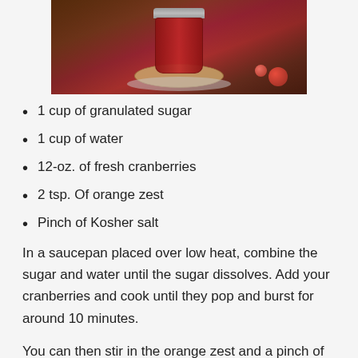[Figure (photo): A jar of cranberry sauce on a burlap coaster on a wooden surface, with cranberries nearby]
1 cup of granulated sugar
1 cup of water
12-oz. of fresh cranberries
2 tsp. Of orange zest
Pinch of Kosher salt
In a saucepan placed over low heat, combine the sugar and water until the sugar dissolves. Add your cranberries and cook until they pop and burst for around 10 minutes.
You can then stir in the orange zest and a pinch of the kosher salt and mix thoroughly.